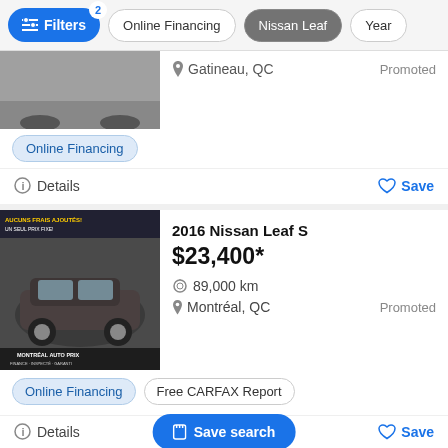Filters (2) | Online Financing | Nissan Leaf | Year
[Figure (screenshot): Partial car image showing bottom portion of a vehicle]
Gatineau, QC  Promoted
Online Financing
Details   Save
[Figure (photo): 2016 Nissan Leaf S dark brown/grey, Montreal Auto Prix dealership]
2016 Nissan Leaf S
$23,400*
89,000 km
Montréal, QC  Promoted
Online Financing  Free CARFAX Report
Details   Save search   Save
[Figure (photo): 2015 Nissan Leaf SV white, Blainville Mitsubishi dealership]
2015 Nissan Leaf SV + NAVIGATION + CAMÉ…
$19,992*